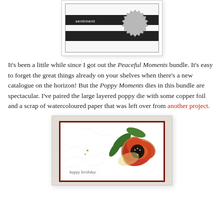[Figure (illustration): Card sketch/template showing a white card with black horizontal stripes, a 'sentiment' label text on the stripe, and a grey scalloped medallion/circle on the right side]
It's been a little while since I got out the Peaceful Moments bundle. It's easy to forget the great things already on your shelves when there's a new catalogue on the horizon! But the Poppy Moments dies in this bundle are spectacular. I've paired the large layered poppy die with some copper foil and a scrap of watercoloured paper that was left over from another project.
[Figure (photo): Photo of a handmade birthday card featuring a large layered red/orange poppy flower with green leaves, copper foil accents, on a white card with a dark red border. The card reads 'happy birthday' in script at the bottom left. The card is placed on a textured beige background.]